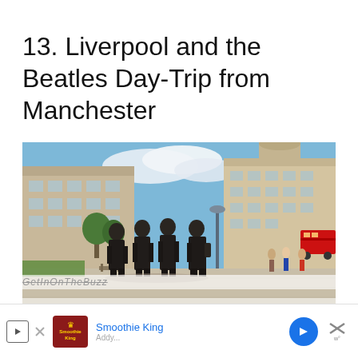13. Liverpool and the Beatles Day-Trip from Manchester
[Figure (photo): The Beatles statues in Liverpool waterfront, four bronze figures walking side by side in front of historic buildings, with a red double-decker bus visible in background and tourists on a sunny day.]
GetInOnTheBuzz
Smoothie King